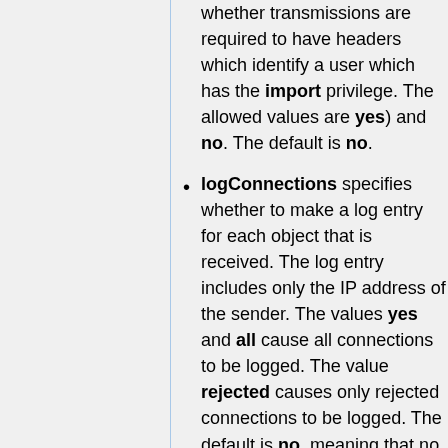whether transmissions are required to have headers which identify a user which has the import privilege. The allowed values are yes) and no. The default is no.
logConnections specifies whether to make a log entry for each object that is received. The log entry includes only the IP address of the sender. The values yes and all cause all connections to be logged. The value rejected causes only rejected connections to be logged. The default is no, meaning that no connections are logged. This capability is intended primarily for configuration debugging.
quarantine is a directory in which the ImportService is to quarantine objects that it receives but is